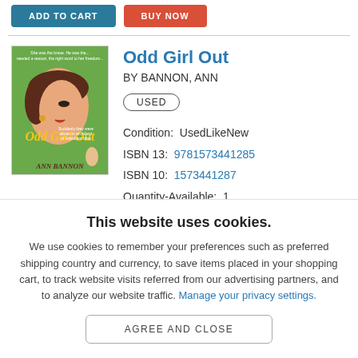[Figure (screenshot): Two e-commerce buttons: ADD TO CART (teal) and BUY NOW (red)]
[Figure (illustration): Book cover for 'Odd Girl Out' by Ann Bannon, pulp fiction style with woman's face in profile]
Odd Girl Out
BY BANNON, ANN
USED
Condition:  UsedLikeNew
ISBN 13:  9781573441285
ISBN 10:  1573441287
Quantity-Available:  1
This website uses cookies.
We use cookies to remember your preferences such as preferred shipping country and currency, to save items placed in your shopping cart, to track website visits referred from our advertising partners, and to analyze our website traffic. Manage your privacy settings.
AGREE AND CLOSE